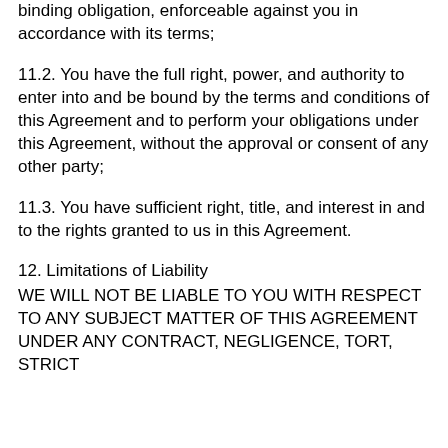binding obligation, enforceable against you in accordance with its terms;
11.2. You have the full right, power, and authority to enter into and be bound by the terms and conditions of this Agreement and to perform your obligations under this Agreement, without the approval or consent of any other party;
11.3. You have sufficient right, title, and interest in and to the rights granted to us in this Agreement.
12. Limitations of Liability
WE WILL NOT BE LIABLE TO YOU WITH RESPECT TO ANY SUBJECT MATTER OF THIS AGREEMENT UNDER ANY CONTRACT, NEGLIGENCE, TORT, STRICT